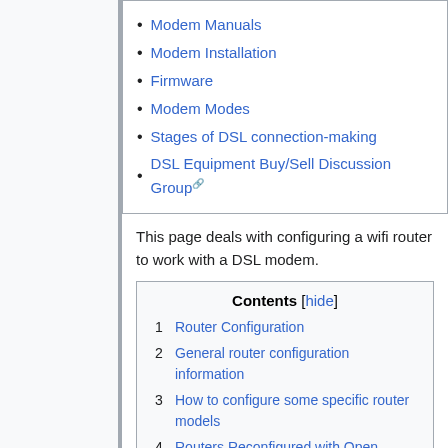Modem Manuals
Modem Installation
Firmware
Modem Modes
Stages of DSL connection-making
DSL Equipment Buy/Sell Discussion Group
This page deals with configuring a wifi router to work with a DSL modem.
| 1 | Router Configuration |
| 2 | General router configuration information |
| 3 | How to configure some specific router models |
| 4 | Routers Reconfigured with Open Source Software |
| 5 | See also |
Router Configuration